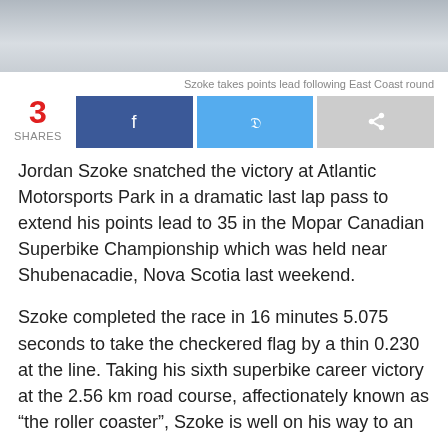[Figure (photo): Partial photo strip at top of page showing motorsport scene, mostly cropped]
Szoke takes points lead following East Coast round
3 SHARES [Facebook share button] [Twitter share button] [Share button]
Jordan Szoke snatched the victory at Atlantic Motorsports Park in a dramatic last lap pass to extend his points lead to 35 in the Mopar Canadian Superbike Championship which was held near Shubenacadie, Nova Scotia last weekend.
Szoke completed the race in 16 minutes 5.075 seconds to take the checkered flag by a thin 0.230 at the line. Taking his sixth superbike career victory at the 2.56 km road course, affectionately known as “the roller coaster”, Szoke is well on his way to an